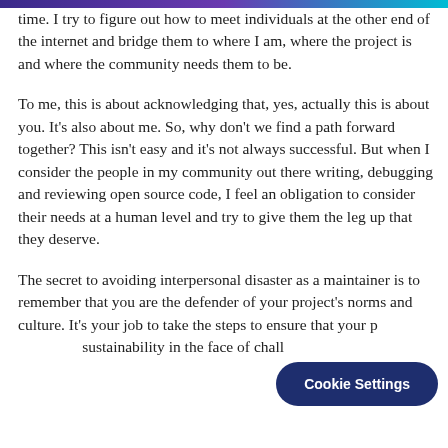time. I try to figure out how to meet individuals at the other end of the internet and bridge them to where I am, where the project is and where the community needs them to be.
To me, this is about acknowledging that, yes, actually this is about you. It's also about me. So, why don't we find a path forward together? This isn't easy and it's not always successful. But when I consider the people in my community out there writing, debugging and reviewing open source code, I feel an obligation to consider their needs at a human level and try to give them the leg up that they deserve.
The secret to avoiding interpersonal disaster as a maintainer is to remember that you are the defender of your project's norms and culture. It's your job to take the steps to ensure that your p… sustainability in the face of chall…
Cookie Settings